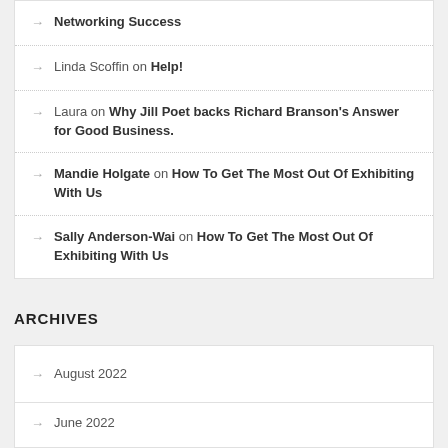Networking Success
Linda Scoffin on Help!
Laura on Why Jill Poet backs Richard Branson's Answer for Good Business.
Mandie Holgate on How To Get The Most Out Of Exhibiting With Us
Sally Anderson-Wai on How To Get The Most Out Of Exhibiting With Us
ARCHIVES
August 2022
June 2022